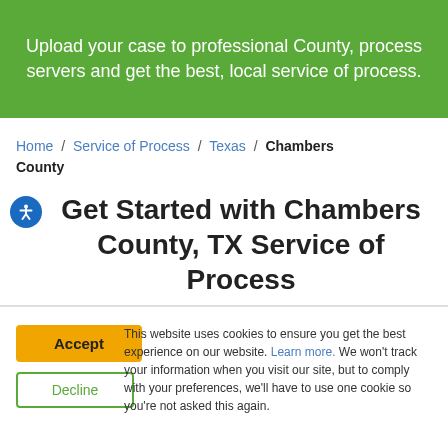Upload your case to professional County, process servers and get the best, local service of process.
Home / Service of Process / Texas / Chambers County
Get Started with Chambers County, TX Service of Process
This website uses cookies to ensure you get the best experience on our website. Learn more. We won't track your information when you visit our site, but to comply with your preferences, we'll have to use one cookie so you're not asked this again.